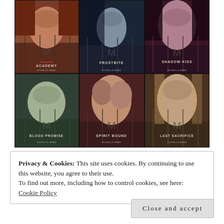[Figure (illustration): A 3x2 grid of book covers from the Vampire Academy series by Richelle Mead. Top row: Vampire Academy, Frostbite, Shadow Kiss. Bottom row: Blood Promise, Spirit Bound, Last Sacrifice. Each cover features close-up portraits of characters on dark, atmospheric backgrounds.]
Privacy & Cookies: This site uses cookies. By continuing to use this website, you agree to their use.
To find out more, including how to control cookies, see here:
Cookie Policy
Close and accept